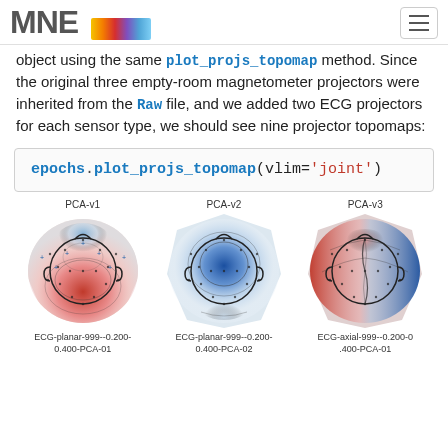MNE
object using the same plot_projs_topomap method. Since the original three empty-room magnetometer projectors were inherited from the Raw file, and we added two ECG projectors for each sensor type, we should see nine projector topomaps:
epochs.plot_projs_topomap(vlim='joint')
[Figure (other): Three EEG/MEG topographic maps labeled PCA-v1, PCA-v2, and PCA-v3, showing spatial distributions with red-blue color gradients. PCA-v1 shows red at bottom, PCA-v2 shows blue center, PCA-v3 shows red-blue split. Captioned ECG-planar-999--0.200-0.400-PCA-01, ECG-planar-999--0.200-0.400-PCA-02, ECG-axial-999--0.200-0.400-PCA-01]